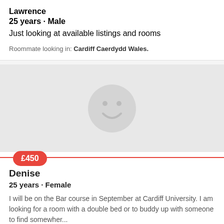Lawrence
25 years · Male
Just looking at available listings and rooms
Roommate looking in: Cardiff Caerdydd Wales.
[Figure (illustration): Placeholder avatar smiley face icon on grey background]
£450
Denise
25 years · Female
I will be on the Bar course in September at Cardiff University. I am looking for a room with a double bed or to buddy up with someone to find somewher...